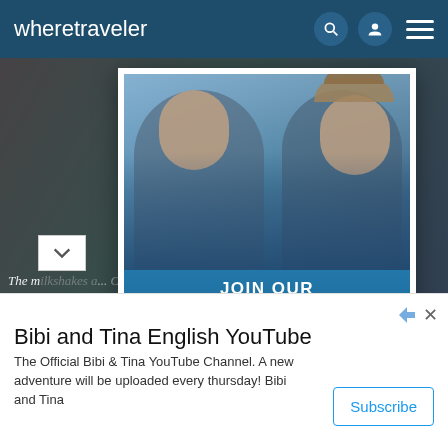wheretraveler
[Figure (screenshot): Website screenshot showing 'wheretraveler' navigation bar at top, background food/travel photo, and a loyalty program popup modal overlaid on the page. Popup shows a couple smiling in a city with text: JOIN OUR LOYALTY PROGRAM GET EXCLUSIVE DEALS ON TOURS, ATTRACTIONS, AND YOUR FAVORITE BRANDS AND RETAILERS. Below is a Google ad strip for 'Bibi and Tina English YouTube' with a Subscribe button.]
The milkshakes a... Courtesy Yeah!
JOIN OUR LOYALTY PROGRAM
GET EXCLUSIVE DEALS
ON TOURS, ATTRACTIONS, AND YOUR FAVORITE BRANDS AND RETAILERS.
Bibi and Tina English YouTube
The Official Bibi & Tina YouTube Channel. A new adventure will be uploaded every thursday! Bibi and Tina
Subscribe